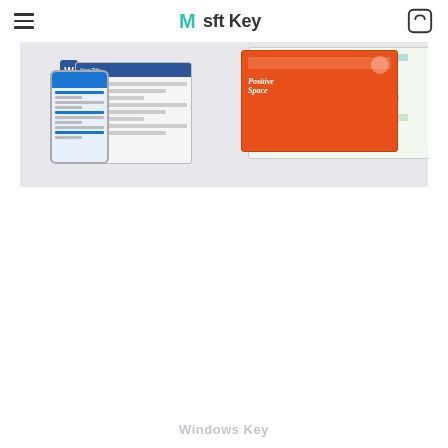Msft Key — navigation header with hamburger menu and cart icon
[Figure (screenshot): Microsoft Office product collage showing Word, PowerPoint (orange slide with 'Positive Space' text), Excel spreadsheet, and a mobile screen — all displayed on a light gray background as a promotional hero image for Msft Key software store]
Windows Key